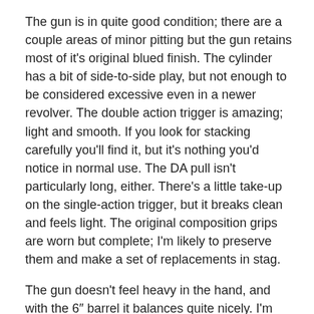The gun is in quite good condition; there are a couple areas of minor pitting but the gun retains most of it's original blued finish. The cylinder has a bit of side-to-side play, but not enough to be considered excessive even in a newer revolver. The double action trigger is amazing; light and smooth. If you look for stacking carefully you'll find it, but it's nothing you'd notice in normal use. The DA pull isn't particularly long, either. There's a little take-up on the single-action trigger, but it breaks clean and feels light. The original composition grips are worn but complete; I'm likely to preserve them and make a set of replacements in stag.
The gun doesn't feel heavy in the hand, and with the 6″ barrel it balances quite nicely. I'm very much looking forward to getting it to the range!
What's up with this 'Russian' stuff?